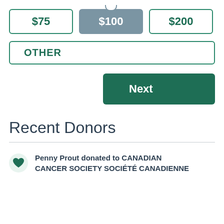[Figure (other): Donation amount selection buttons showing $75, $100 (selected/highlighted), and $200]
[Figure (other): OTHER donation amount button with green border]
[Figure (other): Next button in dark green]
Recent Donors
Penny Prout donated to CANADIAN CANCER SOCIETY SOCIÉTÉ CANADIENNE